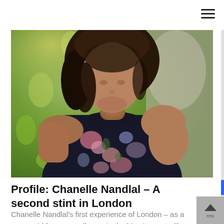[Figure (photo): Portrait photograph of a woman with dark hair, wearing a dark floral dress, photographed outdoors with green foliage in the background.]
Profile: Chanelle Nandlal – A second stint in London
Chanelle Nandlal's first experience of London – as a young girl from a small town in the big city – was like no